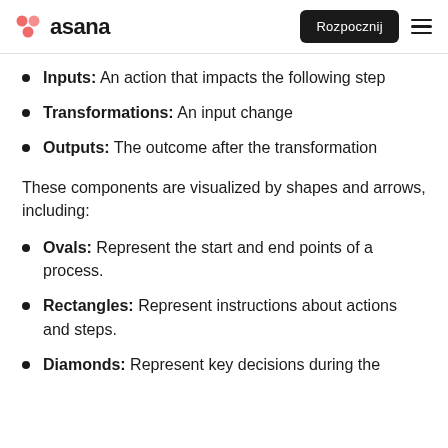asana | Rozpocznij
Inputs: An action that impacts the following step
Transformations: An input change
Outputs: The outcome after the transformation
These components are visualized by shapes and arrows, including:
Ovals: Represent the start and end points of a process.
Rectangles: Represent instructions about actions and steps.
Diamonds: Represent key decisions during the